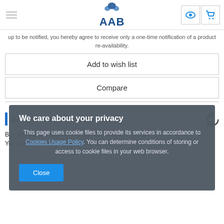AAB - navigation header with hamburger menu, logo, eye icon, cart icon
up to be notified, you hereby agree to receive only a one-time notification of a product re-availability.
Add to wish list
Compare
EASY PRODUCT RETURNS
Buy a product and check it in your own time, at home. You can return the product without providing a reason within 30 days.
We care about your privacy
This page uses cookie files to provide its services in accordance to Cookies Usage Policy. You can determine conditions of storing or access to cookie files in your web browser.
Close